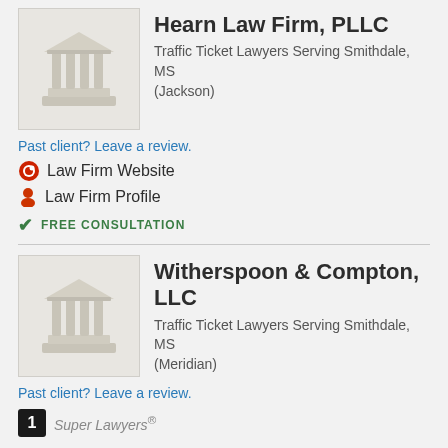[Figure (logo): Law firm building/courthouse icon placeholder image, gray tones]
Hearn Law Firm, PLLC
Traffic Ticket Lawyers Serving Smithdale, MS (Jackson)
Past client? Leave a review.
Law Firm Website
Law Firm Profile
FREE CONSULTATION
[Figure (logo): Law firm building/courthouse icon placeholder image, gray tones]
Witherspoon & Compton, LLC
Traffic Ticket Lawyers Serving Smithdale, MS (Meridian)
Past client? Leave a review.
1 Super Lawyers